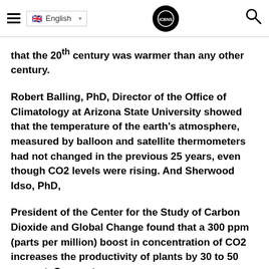English [language selector] [logo] [search]
that the 20th century was warmer than any other century.
Robert Balling, PhD, Director of the Office of Climatology at Arizona State University showed that the temperature of the earth's atmosphere, measured by balloon and satellite thermometers had not changed in the previous 25 years, even though CO2 levels were rising. And Sherwood Idso, PhD,
President of the Center for the Study of Carbon Dioxide and Global Change found that a 300 ppm (parts per million) boost in concentration of CO2 increases the productivity of plants by 30 to 50 percent. Orange trees